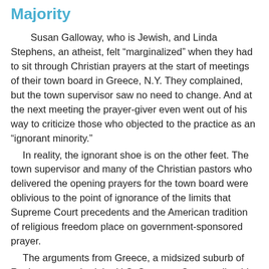Majority
Susan Galloway, who is Jewish, and Linda Stephens, an atheist, felt “marginalized” when they had to sit through Christian prayers at the start of meetings of their town board in Greece, N.Y. They complained, but the town supervisor saw no need to change. And at the next meeting the prayer-giver even went out of his way to criticize those who objected to the practice as an “ignorant minority.”
In reality, the ignorant shoe is on the other feet. The town supervisor and many of the Christian pastors who delivered the opening prayers for the town board were oblivious to the point of ignorance of the limits that Supreme Court precedents and the American tradition of religious freedom place on government-sponsored prayer.
The arguments from Greece, a midsized suburb of Rochester, reached the U.S. Supreme Court earlier this month [Nov. 6]. The case, Town of Greece v. Galloway, found the justices at least as divided as the townfolk about the use of prayers to open local governmental meetings.
From one side, Justice Antonin Scalia found the practice not only unobjectionable but even necessary to